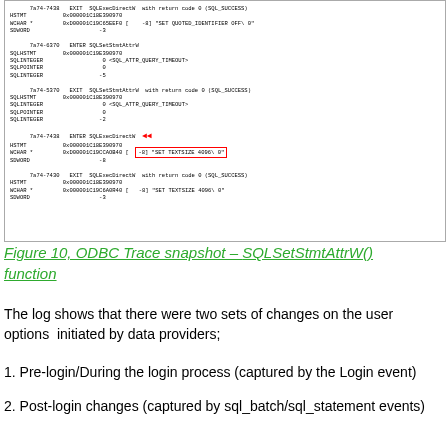[Figure (screenshot): ODBC Trace log screenshot showing SQLExecDirectW and SQLSetStmtAttrW function calls with parameters including HSTMT, MCHAR, SDWORD, SQLHSTMT, SQLINTEGER, SQLPOINTER values. Red arrow pointing to ENTER SQLExecDirectW entry. Red box highlighting '-8] "SET TEXTSIZE 4096\ 0"' parameter.]
Figure 10, ODBC Trace snapshot – SQLSetStmtAttrW() function
The log shows that there were two sets of changes on the user options  initiated by data providers;
1. Pre-login/During the login process (captured by the Login event)
2. Post-login changes (captured by sql_batch/sql_statement events)